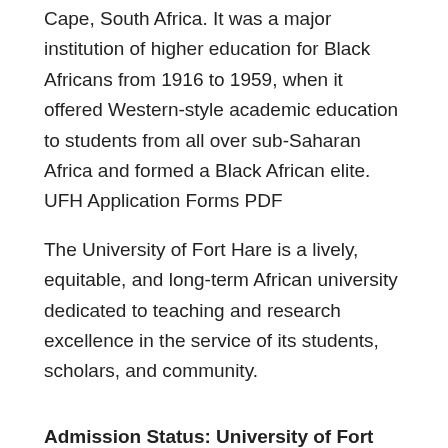Cape, South Africa. It was a major institution of higher education for Black Africans from 1916 to 1959, when it offered Western-style academic education to students from all over sub-Saharan Africa and formed a Black African elite. UFH Application Forms PDF
The University of Fort Hare is a lively, equitable, and long-term African university dedicated to teaching and research excellence in the service of its students, scholars, and community.
Admission Status: University of Fort Hare Admission Status 2023/2024
Study at UFH:
DO YOU KNOW WHAT YOU WANT TO STUDY?
It is a good idea to have a career objective in mind, and check the